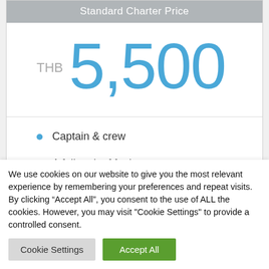Standard Charter Price
THB 5,500
Captain & crew
A full tank of fuel
We use cookies on our website to give you the most relevant experience by remembering your preferences and repeat visits. By clicking “Accept All”, you consent to the use of ALL the cookies. However, you may visit "Cookie Settings" to provide a controlled consent.